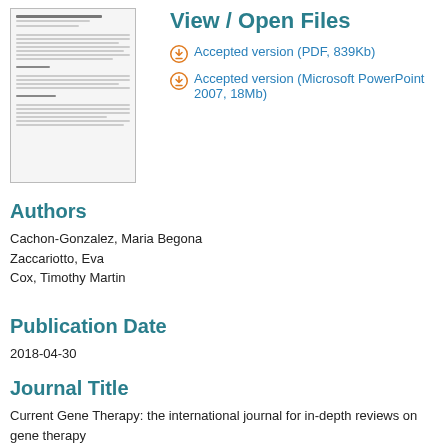[Figure (other): Thumbnail preview of a document page showing text content of a scientific paper]
View / Open Files
Accepted version (PDF, 839Kb)
Accepted version (Microsoft PowerPoint 2007, 18Mb)
Authors
Cachon-Gonzalez, Maria Begona
Zaccariotto, Eva
Cox, Timothy Martin
Publication Date
2018-04-30
Journal Title
Current Gene Therapy: the international journal for in-depth reviews on gene therapy